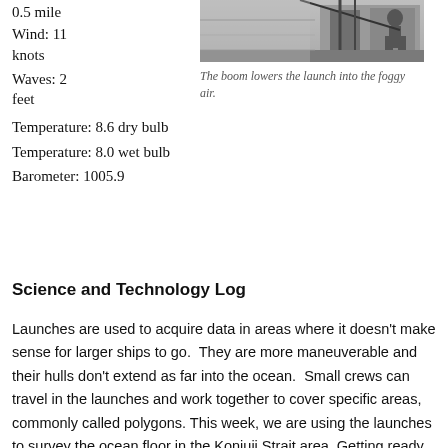0.5 mile
Wind: 11 knots
Waves: 2 feet
Temperature: 8.6 dry bulb
Temperature: 8.0 wet bulb
Barometer: 1005.9
[Figure (photo): Black and white photo of a boom lowering a launch into foggy air]
The boom lowers the launch into the foggy air.
Science and Technology Log
Launches are used to acquire data in areas where it doesn't make sense for larger ships to go.  They are more maneuverable and their hulls don't extend as far into the ocean.  Small crews can travel in the launches and work together to cover specific areas, commonly called polygons. This week, we are using the launches to survey the ocean floor in the Koniuji Strait area. Getting ready for the launch requires some preparation. Dressing for the